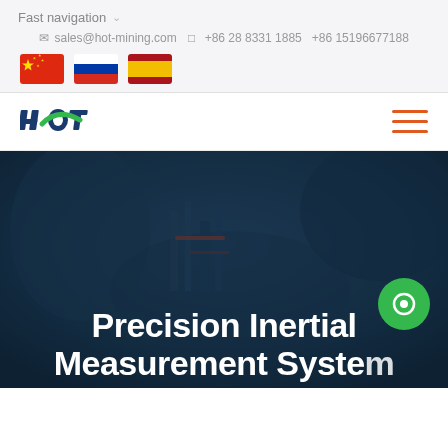Fast navigation
sales@hot-mining.com  +86 28 8331 1885  +86 15196677188
[Figure (illustration): Three country flags: China, Russia, Spain]
[Figure (logo): HOT Mining company logo in blue and green]
[Figure (illustration): Hamburger menu icon with three orange horizontal lines]
[Figure (photo): Dark blue-tinted background photo of underground mining tunnel with machinery and workers]
Precision Inertial Measurement System for Mining